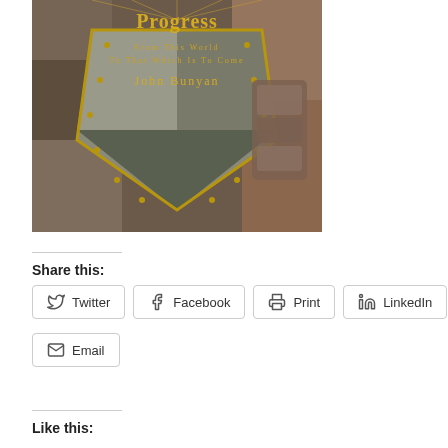[Figure (illustration): Book cover of 'The Pilgrim's Progress from This World to That Which Is to Come' by John Bunyan, featuring a medieval knight's shield and armor with ornate gold lettering.]
Share this:
Twitter
Facebook
Print
LinkedIn
Email
Like this: